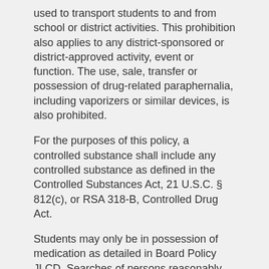used to transport students to and from school or district activities. This prohibition also applies to any district-sponsored or district-approved activity, event or function. The use, sale, transfer or possession of drug-related paraphernalia, including vaporizers or similar devices, is also prohibited.
For the purposes of this policy, a controlled substance shall include any controlled substance as defined in the Controlled Substances Act, 21 U.S.C. § 812(c), or RSA 318-B, Controlled Drug Act.
Students may only be in possession of medication as detailed in Board Policy JLCD. Searches of persons reasonably suspected to be in violation of this policy will be conducted in accordance with Board Policy JIH.
Any student who is found by the administration to be in violation of this policy shall be referred for prosecution and subject to disciplinary action up to and including suspension, expulsion or other discipline in accordance with the district's disciplinary policy. Strict compliance is mandatory. The school principal shall immediately report all incidents involving a controlled substance to the appropriate local law enforcement agency and the